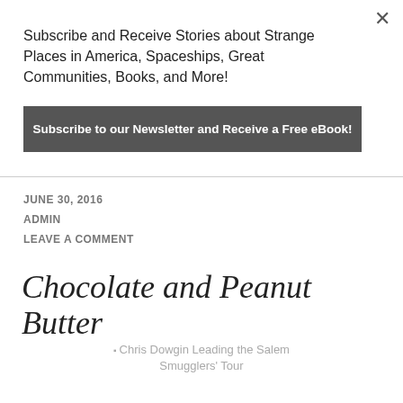Subscribe and Receive Stories about Strange Places in America, Spaceships, Great Communities, Books, and More!
Subscribe to our Newsletter and Receive a Free eBook!
JUNE 30, 2016
ADMIN
LEAVE A COMMENT
Chocolate and Peanut Butter
[Figure (photo): Broken image placeholder showing alt text: Chris Dowgin Leading the Salem Smugglers' Tour]